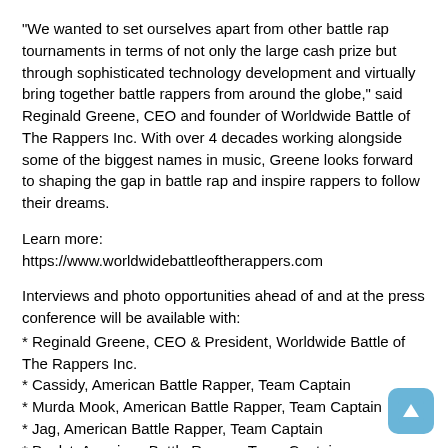"We wanted to set ourselves apart from other battle rap tournaments in terms of not only the large cash prize but through sophisticated technology development and virtually bring together battle rappers from around the globe," said Reginald Greene, CEO and founder of Worldwide Battle of The Rappers Inc. With over 4 decades working alongside some of the biggest names in music, Greene looks forward to shaping the gap in battle rap and inspire rappers to follow their dreams.
Learn more:
https://www.worldwidebattleoftherappers.com
Interviews and photo opportunities ahead of and at the press conference will be available with:
* Reginald Greene, CEO & President, Worldwide Battle of The Rappers Inc.
* Cassidy, American Battle Rapper, Team Captain
* Murda Mook, American Battle Rapper, Team Captain
* Jag, American Battle Rapper, Team Captain
* Daylyt, American Battle Rapper, Team Captain
* Danny Myers, American Battle Rapper, Team Captain